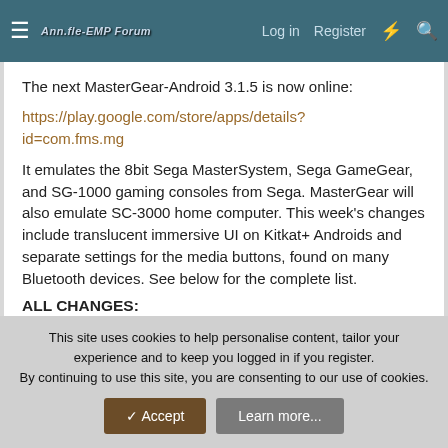≡  Ann.fle-EMP Forum  Log in  Register  ⚡  🔍
The next MasterGear-Android 3.1.5 is now online:
https://play.google.com/store/apps/details?id=com.fms.mg
It emulates the 8bit Sega MasterSystem, Sega GameGear, and SG-1000 gaming consoles from Sega. MasterGear will also emulate SC-3000 home computer. This week's changes include translucent immersive UI on Kitkat+ Androids and separate settings for the media buttons, found on many Bluetooth devices. See below for the complete list.
ALL CHANGES:
This site uses cookies to help personalise content, tailor your experience and to keep you logged in if you register.
By continuing to use this site, you are consenting to our use of cookies.